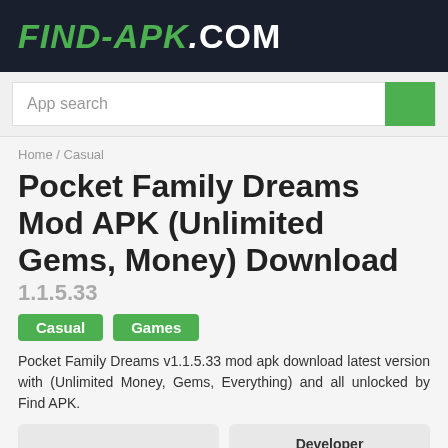FIND-APK.COM
App search
Home / Casual
Pocket Family Dreams Mod APK (Unlimited Gems, Money) Download
1.1.5.33
Casual
Games
Pocket Family Dreams v1.1.5.33 mod apk download latest version with (Unlimited Money, Gems, Everything) and all unlocked by Find APK.
Developer